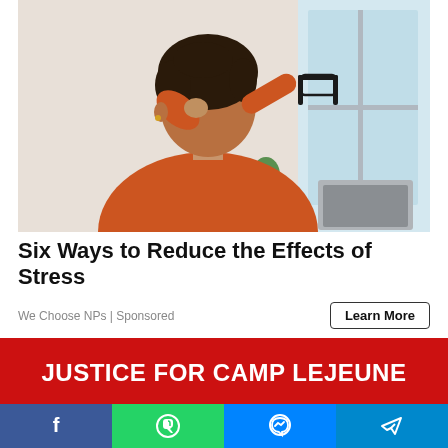[Figure (photo): Woman in orange long-sleeve shirt rubbing her eyes while holding glasses, sitting in front of a laptop at a desk near a window. Appears stressed or tired.]
Six Ways to Reduce the Effects of Stress
We Choose NPs | Sponsored
Learn More
[Figure (infographic): Red banner advertisement reading 'JUSTICE FOR CAMP LEJEUNE' in bold white uppercase text on a red background.]
[Figure (infographic): Social media share bar with four buttons: Facebook (blue), WhatsApp (green), Messenger (blue), Telegram (blue)]